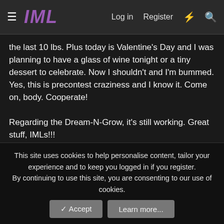IML  Log in  Register
the last 10 lbs. Plus today is Valentine's Day and I was planning to have a glass of wine tonight or a tiny dessert to celebrate. Now I shouldn't and I'm bummed. Yes, this is precontest craziness and I know it. Come on, body. Cooperate!

Regarding the Dream-N-Grow, it's still working. Great stuff, IMLs!!!
Chad Frazier
New member
Feb 14, 2017  #18
This site uses cookies to help personalise content, tailor your experience and to keep you logged in if you register.
By continuing to use this site, you are consenting to our use of cookies.